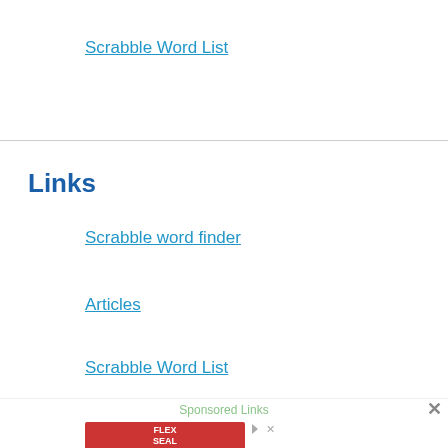Scrabble Word List
Links
Scrabble word finder
Articles
Scrabble Word List
Sponsored Links
[Figure (other): Flex Seal advertisement banner with red background and product logo]